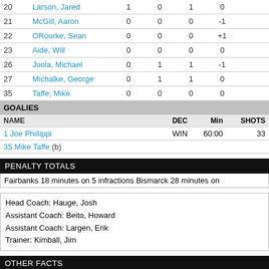| # | NAME | G | A | PTS | +/- |  |
| --- | --- | --- | --- | --- | --- | --- |
| 20 | Larson, Jared | 1 | 0 | 1 | 0 |  |
| 21 | McGill, Aaron | 0 | 0 | 0 | -1 |  |
| 22 | ORourke, Sean | 0 | 0 | 0 | +1 |  |
| 23 | Aide, Will | 0 | 0 | 0 | 0 |  |
| 26 | Juola, Michael | 0 | 1 | 1 | -1 |  |
| 27 | Michalke, George | 0 | 1 | 1 | 0 |  |
| 35 | Taffe, Mike | 0 | 0 | 0 | 0 |  |
GOALIES
| NAME | DEC | Min | SHOTS |
| --- | --- | --- | --- |
| 1 Joe Phillippi | WIN | 60:00 | 33 |
| 35 Mike Taffe (b) |  |  |  |
PENALTY TOTALS
Fairbanks 18 minutes on 5 infractions Bismarck 28 minutes on
Head Coach: Hauge, Josh
Assistant Coach: Beito, Howard
Assistant Coach: Largen, Erik
Trainer: Kimball, Jim
OTHER FACTS
Game Length: 0:05
Attendance: 1,472
Referee: Brett Sheva
Linesman 1: Trevor Shively
Linesman 2: Shaun Morgan
Scorekeeper: Cheri Dudek-WEN
STAR 1: Larson, Jared (FAI)
STAR 2: Pustin, Mark (FAI)